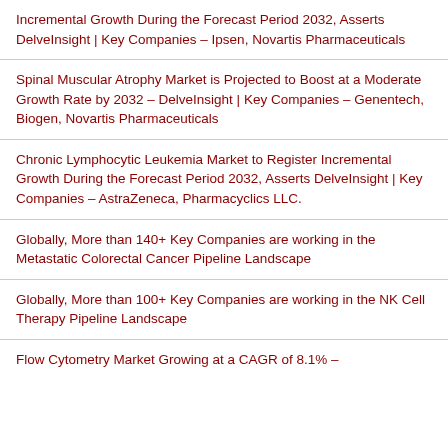Incremental Growth During the Forecast Period 2032, Asserts DelveInsight | Key Companies – Ipsen, Novartis Pharmaceuticals
Spinal Muscular Atrophy Market is Projected to Boost at a Moderate Growth Rate by 2032 – DelveInsight | Key Companies – Genentech, Biogen, Novartis Pharmaceuticals
Chronic Lymphocytic Leukemia Market to Register Incremental Growth During the Forecast Period 2032, Asserts DelveInsight | Key Companies – AstraZeneca, Pharmacyclics LLC.
Globally, More than 140+ Key Companies are working in the Metastatic Colorectal Cancer Pipeline Landscape
Globally, More than 100+ Key Companies are working in the NK Cell Therapy Pipeline Landscape
Flow Cytometry Market Growing at a CAGR of 8.1% –